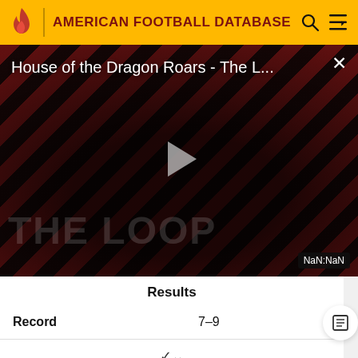AMERICAN FOOTBALL DATABASE
[Figure (screenshot): Video thumbnail for 'House of the Dragon Roars - The L...' showing two people against a diagonal red and dark striped background with a play button overlay and 'THE LOOP' watermark. NaN:NaN timestamp shown.]
House of the Dragon Roars - The L...
Results
|  |  |
| --- | --- |
| Record | 7–9 |